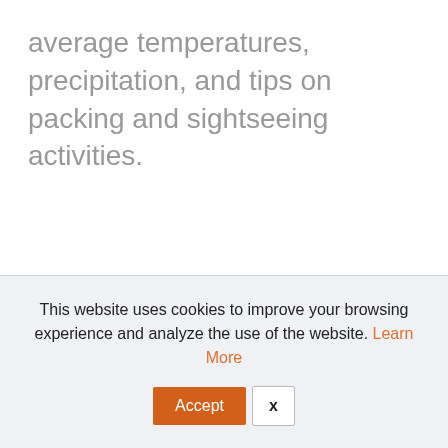average temperatures, precipitation, and tips on packing and sightseeing activities.
This website uses cookies to improve your browsing experience and analyze the use of the website. Learn More